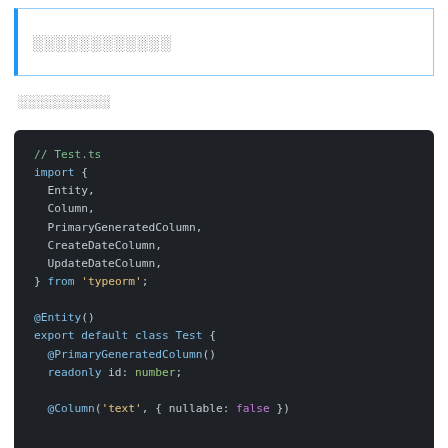░░░░░░░░░░░░
░░░░░░░░░░
[Figure (screenshot): TypeScript code block showing a Test entity class using TypeORM decorators including @Entity, @PrimaryGeneratedColumn, @Column with imports from 'typeorm'. Dark background code editor style.]